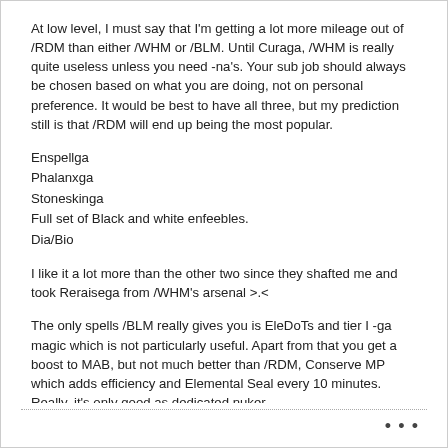At low level, I must say that I'm getting a lot more mileage out of /RDM than either /WHM or /BLM. Until Curaga, /WHM is really quite useless unless you need -na's. Your sub job should always be chosen based on what you are doing, not on personal preference. It would be best to have all three, but my prediction still is that /RDM will end up being the most popular.
Enspellga
Phalanxga
Stoneskinga
Full set of Black and white enfeebles.
Dia/Bio
I like it a lot more than the other two since they shafted me and took Reraisega from /WHM's arsenal >.<
The only spells /BLM really gives you is EleDoTs and tier I -ga magic which is not particularly useful. Apart from that you get a boost to MAB, but not much better than /RDM, Conserve MP which adds efficiency and Elemental Seal every 10 minutes. Really, it's only good as dedicated nuker.
I guess I prefer versatility. Since, with, /RDM you can also -ga your cures anyway, the only real bonus to /WHM is Divine Seal and -na which are situational.
I can't see anyone who's actually looked at /RDM's arsenal in depth saying that it's a sub to avoid. Perhaps you should have your sources look a little closer.